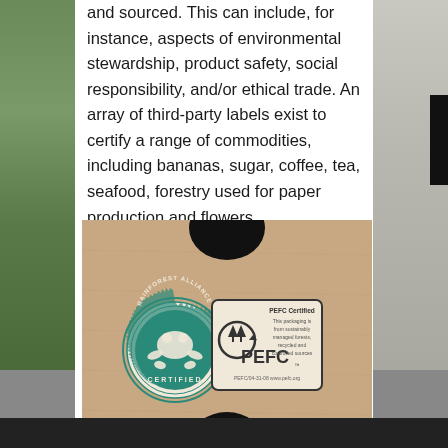and sourced. This can include, for instance, aspects of environmental stewardship, product safety, social responsibility, and/or ethical trade. An array of third-party labels exist to certify a range of commodities, including bananas, sugar, coffee, tea, seafood, forestry used for paper production and flowers.
[Figure (photo): A photo of a cardboard box surface showing two certification logos: the Rainforest Alliance Certified frog logo (green circular badge) on the left, and the PEFC certification logo with text 'PEFC Certified - This packaging is from sustainably managed forests, recycled and controlled sources' on the right.]